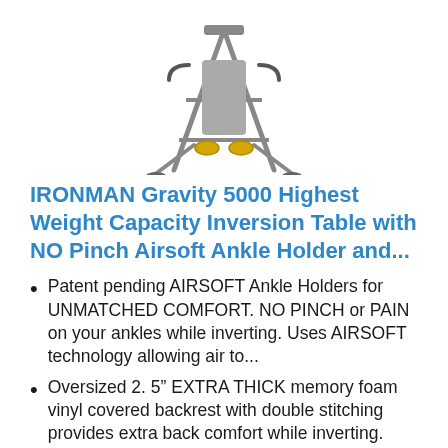[Figure (photo): Product photo of IRONMAN Gravity 5000 inversion table, shown at an angle, with gray metal frame and yellow ankle holders]
IRONMAN Gravity 5000 Highest Weight Capacity Inversion Table with NO Pinch Airsoft Ankle Holder and...
Patent pending AIRSOFT Ankle Holders for UNMATCHED COMFORT. NO PINCH or PAIN on your ankles while inverting. Uses AIRSOFT technology allowing air to...
Oversized 2. 5” EXTRA THICK memory foam vinyl covered backrest with double stitching provides extra back comfort while inverting. Removable lumbar...
Easy reach "Palm Activated" SURELOCK adjustable ratchet ankle locking system. Double lock ratchet tooth mechanism